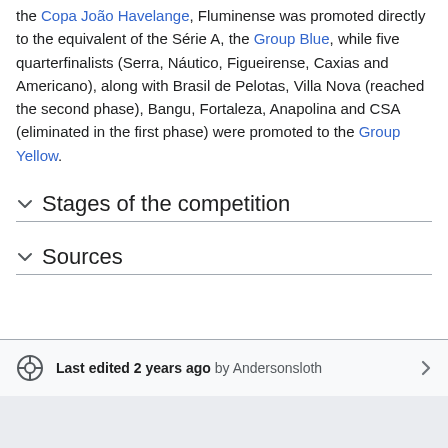the Copa João Havelange, Fluminense was promoted directly to the equivalent of the Série A, the Group Blue, while five quarterfinalists (Serra, Náutico, Figueirense, Caxias and Americano), along with Brasil de Pelotas, Villa Nova (reached the second phase), Bangu, Fortaleza, Anapolina and CSA (eliminated in the first phase) were promoted to the Group Yellow.
Stages of the competition
Sources
Last edited 2 years ago by Andersonsloth